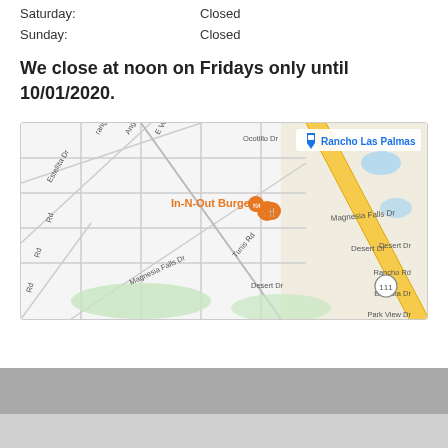Saturday:    Closed
Sunday:    Closed
We close at noon on Fridays only until 10/01/2020.
[Figure (map): Google Maps view showing In-N-Out Burger location near Rancho Las Palmas, with streets including Magnesia Falls Dr, Desert Dr, Rancho Rd, Barbara Dr, Park View Dr, and highway 111 (shown as diagonal yellow road).]